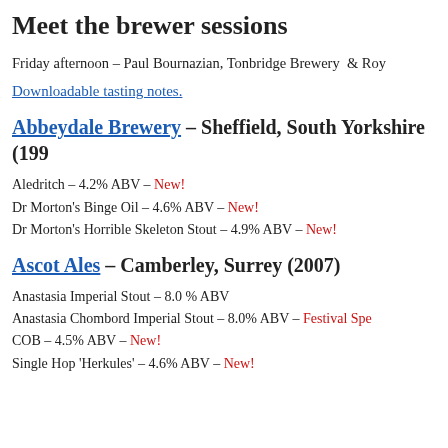Meet the brewer sessions
Friday afternoon – Paul Bournazian, Tonbridge Brewery  & Roy
Downloadable tasting notes.
Abbeydale Brewery  – Sheffield, South Yorkshire (199…
Aledritch – 4.2% ABV – New!
Dr Morton's Binge Oil – 4.6% ABV – New!
Dr Morton's Horrible Skeleton Stout – 4.9% ABV – New!
Ascot Ales – Camberley, Surrey (2007)
Anastasia Imperial Stout – 8.0 % ABV
Anastasia Chombord Imperial Stout – 8.0% ABV – Festival Spe…
COB – 4.5% ABV – New!
Single Hop 'Herkules' – 4.6% ABV – New!